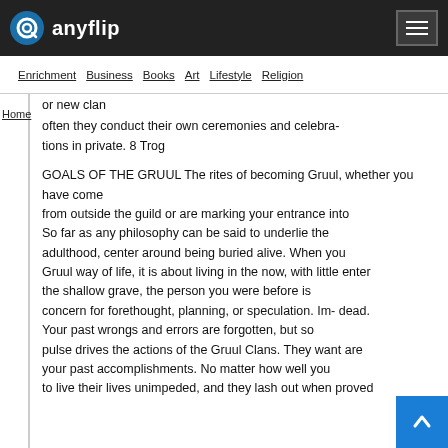anyflip
Enrichment  Business  Books  Art  Lifestyle  Religion
or new clan
often they conduct their own ceremonies and celebrations in private. 8 Trog
GOALS OF THE GRUUL The rites of becoming Gruul, whether you have come
from outside the guild or are marking your entrance into
So far as any philosophy can be said to underlie the
adulthood, center around being buried alive. When you
Gruul way of life, it is about living in the now, with little enter
the shallow grave, the person you were before is
concern for forethought, planning, or speculation. Im- dead.
Your past wrongs and errors are forgotten, but so
pulse drives the actions of the Gruul Clans. They want are
your past accomplishments. No matter how well you
to live their lives unimpeded, and they lash out when proved